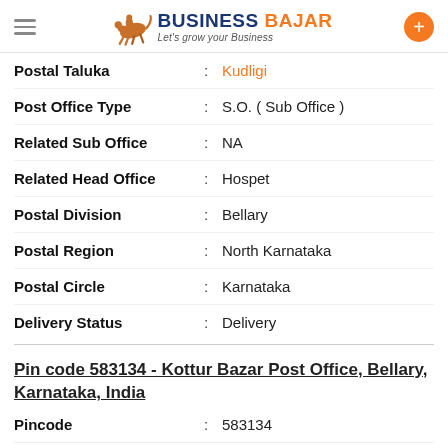Business Bajar — Let's grow your Business
Postal Taluka : Kudligi
Post Office Type : S.O. ( Sub Office )
Related Sub Office : NA
Related Head Office : Hospet
Postal Division : Bellary
Postal Region : North Karnataka
Postal Circle : Karnataka
Delivery Status : Delivery
Pin code 583134 - Kottur Bazar Post Office, Bellary, Karnataka, India
Pincode : 583134
Area : Kottur Bazar
City : Bellary